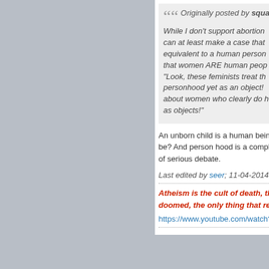Originally posted by square_p [italic blockquote]: While I don't support abortion... can at least make a case that... equivalent to a human person... that women ARE human people... "Look, these feminists treat the... personhood yet as an object!... about women who clearly do h... as objects!"
An unborn child is a human being. W... be? And person hood is a completely... of serious debate.
Last edited by seer; 11-04-2014, 02:...
Atheism is the cult of death, the death of h... doomed, the only thing that remains is to a...
https://www.youtube.com/watch?v=J...
Leonhard
Emeritus Professor